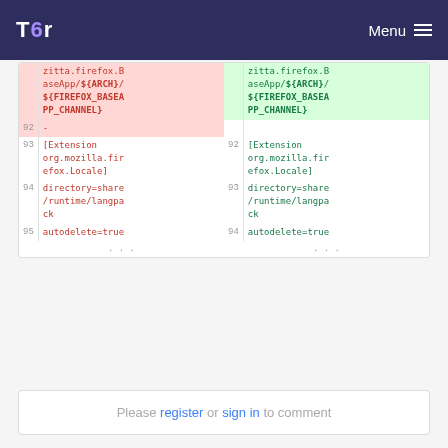Tor Menu
| line-old | code-old | line-new | code-new |
| --- | --- | --- | --- |
|  | zitta.firefox.BaseApp/${ARCH}/${FIREFOX_BASEAPP_CHANNEL} |  | zitta.firefox.BaseApp/${ARCH}/${FIREFOX_BASEAPP_CHANNEL} |
| 92 | - |  |  |
| 93 | [Extension org.mozilla.firefox.Locale] | 92 | [Extension org.mozilla.firefox.Locale] |
| 94 | directory=share/runtime/langpack | 93 | directory=share/runtime/langpack |
| 95 | autodelete=true | 94 | autodelete=true |
| ... |  | ... |  |
Please register or sign in to comment